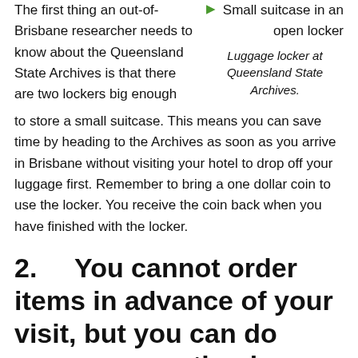The first thing an out-of-Brisbane researcher needs to know about the Queensland State Archives is that there are two lockers big enough to store a small suitcase. This means you can save time by heading to the Archives as soon as you arrive in Brisbane without visiting your hotel to drop off your luggage first. Remember to bring a one dollar coin to use the locker. You receive the coin back when you have finished with the locker.
Luggage locker at Queensland State Archives.
2.      You cannot order items in advance of your visit, but you can do some preparation in advance.